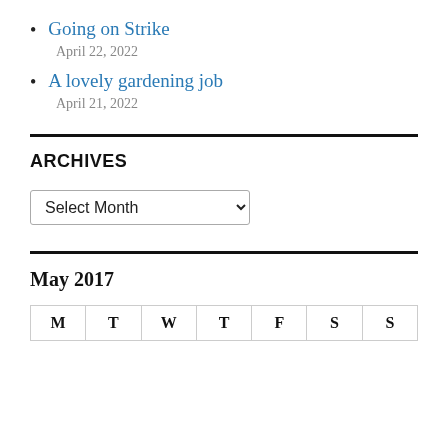Going on Strike
April 22, 2022
A lovely gardening job
April 21, 2022
ARCHIVES
Select Month
May 2017
| M | T | W | T | F | S | S |
| --- | --- | --- | --- | --- | --- | --- |